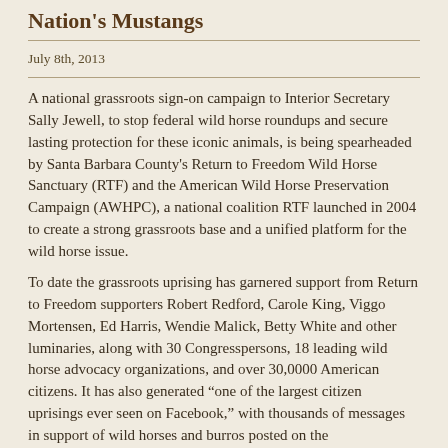Nation's Mustangs
July 8th, 2013
A national grassroots sign-on campaign to Interior Secretary Sally Jewell, to stop federal wild horse roundups and secure lasting protection for these iconic animals, is being spearheaded by Santa Barbara County's Return to Freedom Wild Horse Sanctuary (RTF) and the American Wild Horse Preservation Campaign (AWHPC), a national coalition RTF launched in 2004 to create a strong grassroots base and a unified platform for the wild horse issue.
To date the grassroots uprising has garnered support from Return to Freedom supporters Robert Redford, Carole King, Viggo Mortensen, Ed Harris, Wendie Malick, Betty White and other luminaries, along with 30 Congresspersons, 18 leading wild horse advocacy organizations, and over 30,0000 American citizens. It has also generated “one of the largest citizen uprisings ever seen on Facebook,” with thousands of messages in support of wild horses and burros posted on the